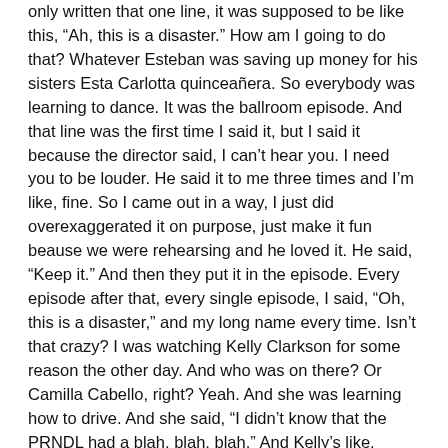only written that one line, it was supposed to be like this, “Ah, this is a disaster.” How am I going to do that? Whatever Esteban was saving up money for his sisters Esta Carlotta quinceañera. So everybody was learning to dance. It was the ballroom episode. And that line was the first time I said it, but I said it because the director said, I can’t hear you. I need you to be louder. He said it to me three times and I’m like, fine. So I came out in a way, I just did overexaggerated it on purpose, just make it fun beause we were rehearsing and he loved it. He said, “Keep it.” And then they put it in the episode. Every episode after that, every single episode, I said, “Oh, this is a disaster,” and my long name every time. Isn’t that crazy? I was watching Kelly Clarkson for some reason the other day. And who was on there? Or Camilla Cabello, right? Yeah. And she was learning how to drive. And she said, “I didn’t know that the PRNDL had a blah, blah, blah.” And Kelly’s like, “What? Wait, wait, Wait, what did you just say?” “You know, the PRNDL that’s what London said in The Suite Life of Zack and Cody.